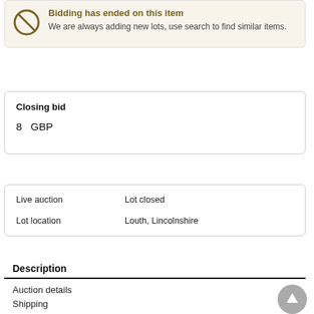Bidding has ended on this item. We are always adding new lots, use search to find similar items.
Closing bid
8  GBP
| Live auction | Lot closed |
| Lot location | Louth, Lincolnshire |
Description
Auction details
Shipping
Terms & conditions